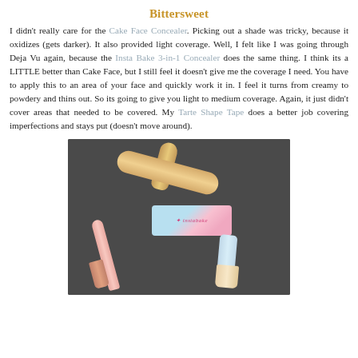Bittersweet
I didn't really care for the Cake Face Concealer. Picking out a shade was tricky, because it oxidizes (gets darker). It also provided light coverage. Well, I felt like I was going through Deja Vu again, because the Insta Bake 3-in-1 Concealer does the same thing. I think its a LITTLE better than Cake Face, but I still feel it doesn't give me the coverage I need. You have to apply this to an area of your face and quickly work it in. I feel it turns from creamy to powdery and thins out. So its going to give you light to medium coverage. Again, it just didn't cover areas that needed to be covered. My Tarte Shape Tape does a better job covering imperfections and stays put (doesn't move around).
[Figure (photo): Photo of a wooden rolling pin, an Insta Bake concealer box with holographic packaging, a pink concealer pen, and a small transparent concealer tube, arranged on a dark slate background.]